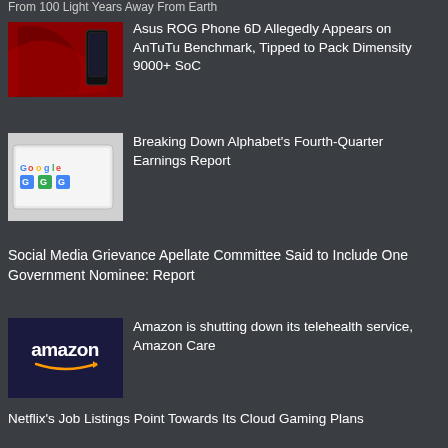From 100 Light Years Away From Earth
[Figure (photo): Asus ROG Phone promotional image with red logo]
Asus ROG Phone 6D Allegedly Appears on AnTuTu Benchmark, Tipped to Pack Dimensity 9000+ SoC
[Figure (photo): Google logo on devices/tablet screens]
Breaking Down Alphabet's Fourth-Quarter Earnings Report
Social Media Grievance Apellate Committee Said to Include One Government Nominee: Report
[Figure (logo): Amazon logo with smile arrow on dark blue background]
Amazon is shutting down its telehealth service, Amazon Care
Netflix's Job Listings Point Towards Its Cloud Gaming Plans